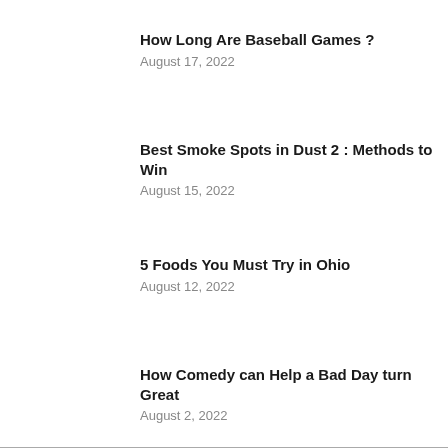How Long Are Baseball Games ?
August 17, 2022
Best Smoke Spots in Dust 2 : Methods to Win
August 15, 2022
5 Foods You Must Try in Ohio
August 12, 2022
How Comedy can Help a Bad Day turn Great
August 2, 2022